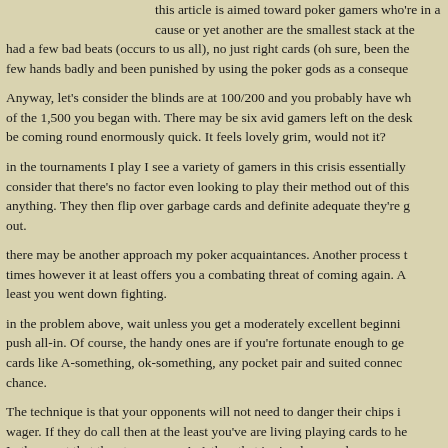this article is aimed toward poker gamers who're in a cause or yet another are the smallest stack at the had a few bad beats (occurs to us all), no just right cards (oh sure, been the few hands badly and been punished by using the poker gods as a consequence.
Anyway, let's consider the blinds are at 100/200 and you probably have what of the 1,500 you began with. There may be six avid gamers left on the desk be coming round enormously quick. It feels lovely grim, would not it?
in the tournaments I play I see a variety of gamers in this crisis essentially consider that there's no factor even looking to play their method out of this anything. They then flip over garbage cards and definite adequate they're g out.
there may be another approach my poker acquaintances. Another process t times however it at least offers you a combating threat of coming again. A least you went down fighting.
in the problem above, wait unless you get a moderately excellent beginni push all-in. Of course, the handy ones are if you're fortunate enough to get cards like A-something, ok-something, any pocket pair and suited connec chance.
The technique is that your opponents will not need to danger their chips i wager. If they do call then at the least you've are living playing cards to hea In the event that they turn over a A-A then that is simply your dangerous go and get on with the subsequent game!
there's a little bit of subtlety to this method and that's timing. If the blinds are again, then you'll need to go together with virtually something. But when yo you've got at least a few possibilities to fold and hope that your next hand is